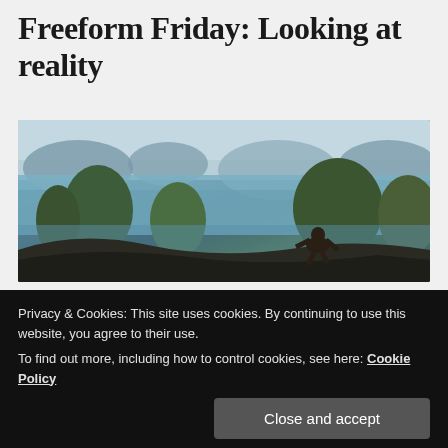Freeform Friday: Looking at reality
[Figure (photo): Aerial view of Ha Long Bay with karst limestone islands and water, a person sitting on a rocky cliff edge in the foreground looking out at the scenery]
Sometimes, when I look around at my life and my current state of mind I get frustrated, but also encouraged. That sense of encouragement is really important right now, as I
Privacy & Cookies: This site uses cookies. By continuing to use this website, you agree to their use.
To find out more, including how to control cookies, see here: Cookie Policy
Close and accept